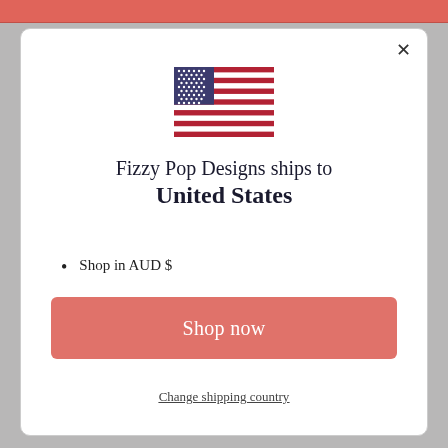[Figure (illustration): US flag SVG inline illustration]
Fizzy Pop Designs ships to United States
Shop in AUD $
Get shipping options for United States
Shop now
Change shipping country